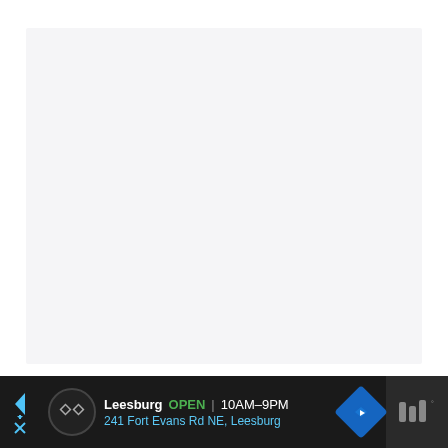[Figure (other): Blank light gray rectangular panel, representing an empty/blank content area]
Cringe.
[Figure (other): Advertisement banner: Leesburg store, OPEN 10AM-9PM, 241 Fort Evans Rd NE, Leesburg, with navigation arrow icon and Waze logo on right]